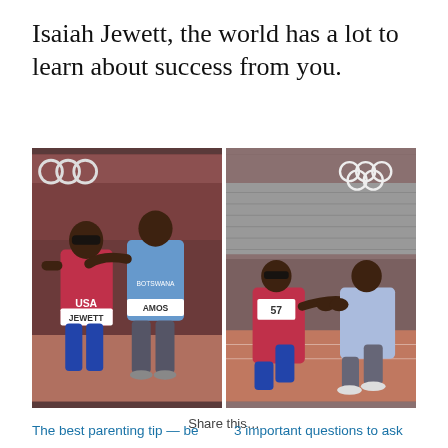Isaiah Jewett, the world has a lot to learn about success from you.
[Figure (photo): Two side-by-side Olympic track photos. Left: two athletes (one in USA jersey labeled JEWETT, one in BOTSWANA jersey labeled AMOS) with one supporting the other after a race. Right: the same two athletes, one kneeling and one in a squat, clasping hands in a gesture of sportsmanship, with the Olympic rings visible in the background.]
Share this...
The best parenting tip — be
3 important questions to ask